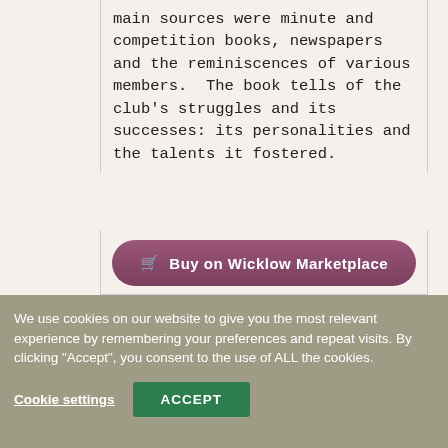main sources were minute and competition books, newspapers and the reminiscences of various members.  The book tells of the club's struggles and its successes: its personalities and the talents it fostered.
[Figure (other): A purple rounded button labeled 'Buy on Wicklow Marketplace' with a shopping cart icon]
We use cookies on our website to give you the most relevant experience by remembering your preferences and repeat visits. By clicking "Accept", you consent to the use of ALL the cookies.
Cookie settings
ACCEPT